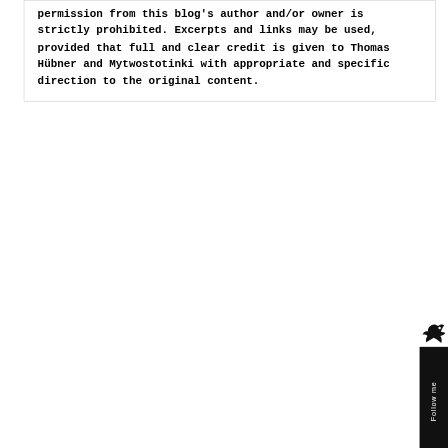permission from this blog's author and/or owner is strictly prohibited. Excerpts and links may be used, provided that full and clear credit is given to Thomas Hübner and Mytwostotinki with appropriate and specific direction to the original content.
[Figure (illustration): Black bird/twitter icon and vertical 'Follow me' sidebar button on right edge]
This entry was posted in Albanian literature, Arabic literature, Books, Bulgarian literature, English literature, French literature, German literature, Hebrew literature, Italian literature, Polish literature, Portuguese literature, Russian literature, Spanish literature and tagged Adriano Sofri, Albanian literature, Anise Koltz, Arabic literature, Arkady Strugatsky, Arnulf Conradi, Art Spiegelman, autobiography, birding, birdwatching, Boris Strugatsky, Bulgarian literature, Charles King, Christoph Hein, Clarice Lispector, Elena Ferrante, English literature, Erich Hackl, essays, fiction, Franz Hodjak, Franz Kafka, French literature,